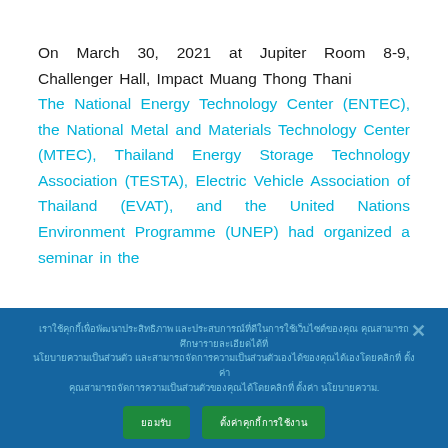On March 30, 2021 at Jupiter Room 8-9, Challenger Hall, Impact Muang Thong Thani
The National Energy Technology Center (ENTEC), the National Metal and Materials Technology Center (MTEC), Thailand Energy Storage Technology Association (TESTA), Electric Vehicle Association of Thailand (EVAT), and the United Nations Environment Programme (UNEP) had organized a seminar in the
Thai language cookie consent overlay text with accept and settings buttons